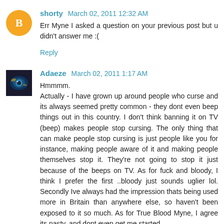shorty March 02, 2011 12:32 AM
Err Myne I asked a question on your previous post but u didn't answer me :(
Reply
Adaeze March 02, 2011 1:17 AM
Hmmmm. Actually - I have grown up around people who curse and its always seemed pretty common - they dont even beep things out in this country. I don't think banning it on TV (beep) makes people stop cursing. The only thing that can make people stop cursing is just people like you for instance, making people aware of it and making people themselves stop it. They're not going to stop it just because of the beeps on TV. As for fuck and bloody, I think I prefer the first ..bloody just sounds uglier lol. Secondly Ive always had the impression thats being used more in Britain than anywhere else, so haven't been exposed to it so much. As for True Blood Myne, I agree its nasty, and dont even get me started on the girls down here in this country, the media...